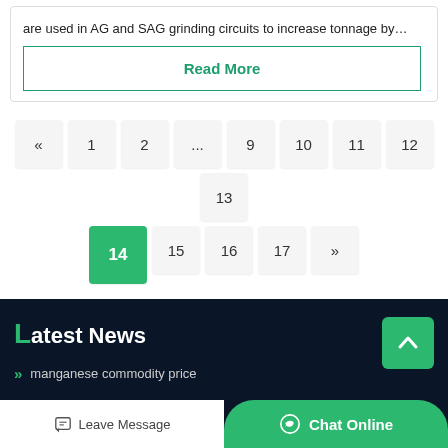are used in AG and SAG grinding circuits to increase tonnage by…
Read More
« 1 2 ... 9 10 11 12 13 14 15 16 17 »
Latest News
manganese commodity price
Leave Message
Chat Online